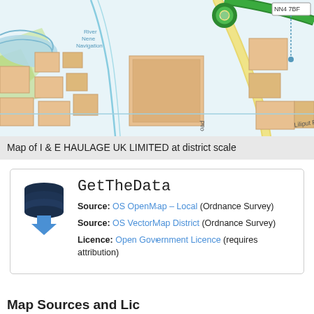[Figure (map): Street map showing area around NN4 7BF postcode in Northampton, featuring River Nene Navigation, Liliput Road, buildings in orange/tan, green motorway, and a blue location pin marker]
Map of I & E HAULAGE UK LIMITED at district scale
[Figure (logo): GetTheData logo: dark blue stacked cylinders (database) icon with a blue downward arrow]
GetTheData
Source: OS OpenMap – Local (Ordnance Survey)
Source: OS VectorMap District (Ordnance Survey)
Licence: Open Government Licence (requires attribution)
Map Sources and Licences